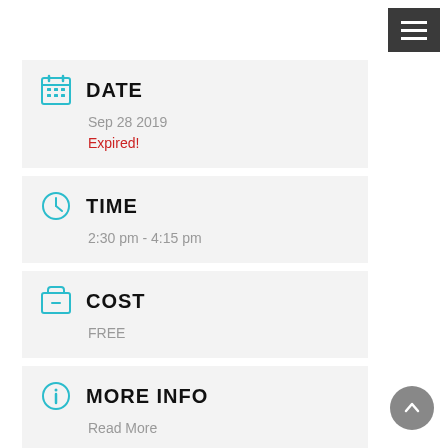[Figure (other): Hamburger menu button (three horizontal lines on dark grey background) in top right corner]
DATE
Sep 28 2019
Expired!
TIME
2:30 pm - 4:15 pm
COST
FREE
MORE INFO
Read More
[Figure (logo): Toronto Yoga Mamas logo in teal/mint green text]
LOCATION